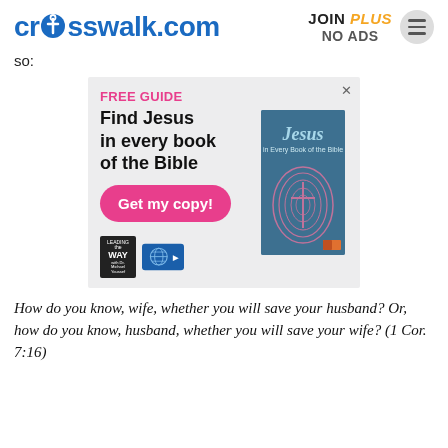crosswalk.com | JOIN PLUS NO ADS
so:
[Figure (infographic): Advertisement: FREE GUIDE - Find Jesus in every book of the Bible. Get my copy! Button. Book cover showing 'Jesus in Every Book of the Bible'. Leading the Way logos.]
How do you know, wife, whether you will save your husband? Or, how do you know, husband, whether you will save your wife? (1 Cor. 7:16)